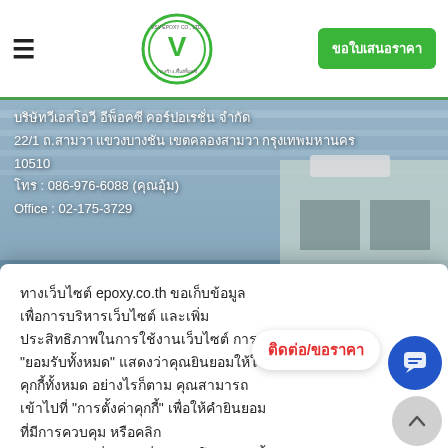≡  [VSV Epoxy Logo]  ขอใบเสนอราคา
[Figure (screenshot): Background photo of industrial/warehouse ceiling interior with white panels and green trees visible]
บริษัทวีเอสโอวี อีพ็อคซี คอร์ปอเรชั่น จำกัด
22/1 ถ.สามวา แขวงบางชัน เขตคลองสามวา กรุงเทพมหานคร 10510
โทร : 086-976-6088 (คุณอุ้ม)
Office : 02-175-3729
ทางเว็บไซต์ epoxy.co.th ขอเก็บข้อมูลเพื่อการบริหารเว็บไซต์ และเพิ่มประสิทธิภาพในการใช้งานเว็บไซต์ การคลิก "ยอมรับทั้งหมด" แสดงว่าคุณยินยอมให้ใช้คุกกี้ทั้งหมด อย่างไรก็ตาม คุณสามารถเข้าไปที่ "การตั้งค่าคุกกี้" เพื่อให้คำยินยอมที่มีการควบคุม หรือคลิก รายละเอียดเพิ่มเติม เพื่ออ่านนโยบายคกกี้
ตั้งค่า Cookie   ยอมรับ   ปิด
ติดต่อ/ขอราคา